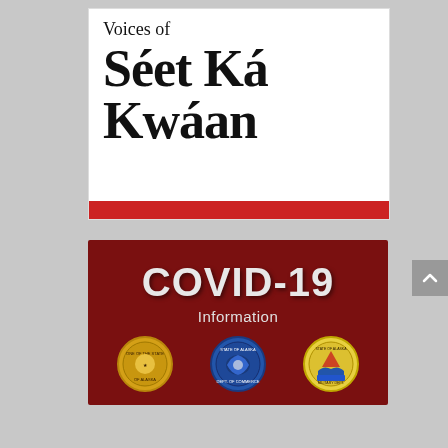[Figure (logo): Voices of Séet Ká Kwáan logo — black serif text on white background with red bar at bottom]
[Figure (infographic): COVID-19 Information banner on dark red background with three government seals at the bottom]